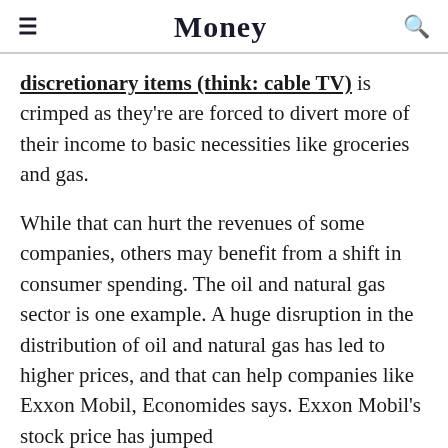Money
discretionary items (think: cable TV) is crimped as they're are forced to divert more of their income to basic necessities like groceries and gas.
While that can hurt the revenues of some companies, others may benefit from a shift in consumer spending. The oil and natural gas sector is one example. A huge disruption in the distribution of oil and natural gas has led to higher prices, and that can help companies like Exxon Mobil, Economides says. Exxon Mobil's stock price has jumped